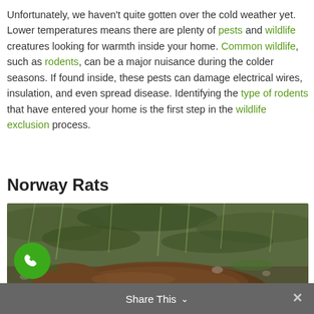Unfortunately, we haven't quite gotten over the cold weather yet. Lower temperatures means there are plenty of pests and wildlife creatures looking for warmth inside your home. Common wildlife, such as rodents, can be a major nuisance during the colder seasons. If found inside, these pests can damage electrical wires, insulation, and even spread disease. Identifying the type of rodents that have entered your home is the first step in the wildlife exclusion process.
Norway Rats
[Figure (photo): Close-up photograph of a Norway rat (brown rat) among green grass and vegetation on the ground.]
Share This ∨   ✕